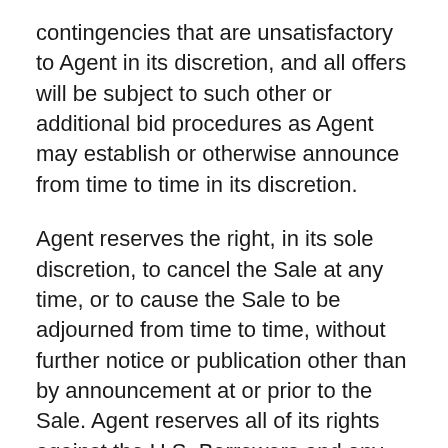contingencies that are unsatisfactory to Agent in its discretion, and all offers will be subject to such other or additional bid procedures as Agent may establish or otherwise announce from time to time in its discretion.
Agent reserves the right, in its sole discretion, to cancel the Sale at any time, or to cause the Sale to be adjourned from time to time, without further notice or publication other than by announcement at or prior to the Sale. Agent reserves all of its rights against the U.S. Borrowers and any other obligor for any and all deficiencies with respect to the Obligations remaining after the Sale. Agent will apply the sale proceeds received for the Sale Assets at the Sale in accordance with the terms of the Financing Documents and applicable law